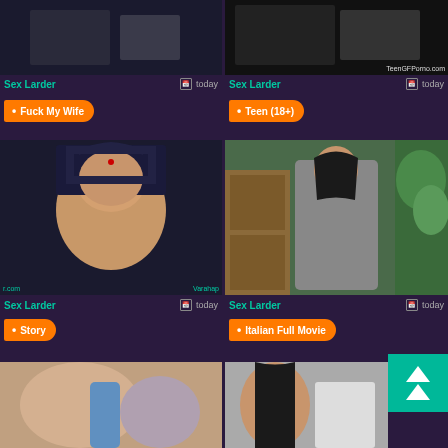[Figure (photo): Dark thumbnail image top-left with watermark 'TeenGFPorno.com']
[Figure (photo): Dark thumbnail image top-right with watermark 'TeenGFPorno.com']
Sex Larder
today
Sex Larder
today
Fuck My Wife
Teen (18+)
[Figure (photo): Indian woman in traditional attire smiling, with watermarks 'ir.com' and 'Varahap?']
[Figure (photo): Woman in grey dress standing in room with plants and cabinet]
Sex Larder
today
Sex Larder
today
Story
Italian Full Movie
[Figure (photo): Bottom-left partial thumbnail]
[Figure (photo): Bottom-right partial thumbnail]